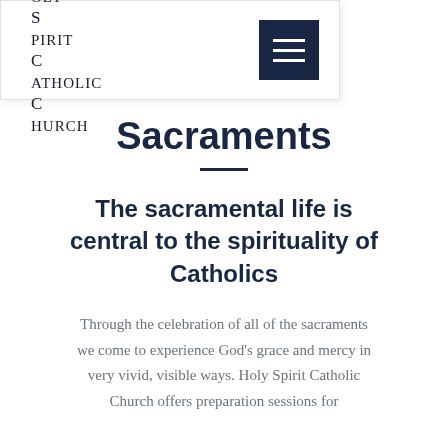Holy Spirit Catholic Church
Sacraments
The sacramental life is central to the spirituality of Catholics
Through the celebration of all of the sacraments we come to experience God's grace and mercy in very vivid, visible ways. Holy Spirit Catholic Church offers preparation sessions for